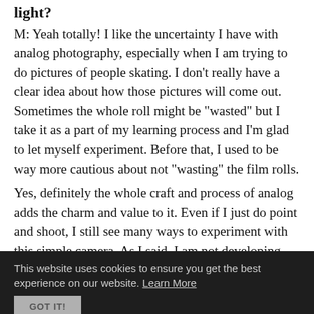light?
M: Yeah totally! I like the uncertainty I have with analog photography, especially when I am trying to do pictures of people skating. I don't really have a clear idea about how those pictures will come out. Sometimes the whole roll might be "wasted" but I take it as a part of my learning process and I'm glad to let myself experiment. Before that, I used to be way more cautious about not "wasting" the film rolls.
Yes, definitely the whole craft and process of analog adds the charm and value to it. Even if I just do point and shoot, I still see many ways to experiment with this simple camera. As I said, I am not developing my own pictures yet, but I am really looking forward to getting there and using it as a new way to work with my photos.
This website uses cookies to ensure you get the best experience on our website. Learn More GOT IT!